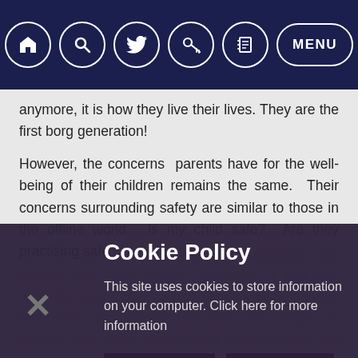Navigation bar with home, search, twitter, key, notebook icons and MENU button
anymore, it is how they live their lives. They are the first borg generation!
However, the concerns parents have for the well-being of their children remains the same. Their concerns surrounding safety are similar to those in the offline world. Is my child safe? Are they practising safe hours? Are they acting within the law? Are they safe from predators? Are they communicating with people older than them? Are they... I find that understanding digital natives actually helps parents feel more empowered, and kids who share an interest with their parents and grandparents are more willing to come to them when in trouble.
Cookie Policy
This site uses cookies to store information on your computer. Click here for more information
Allow Cookies   Deny Cookies